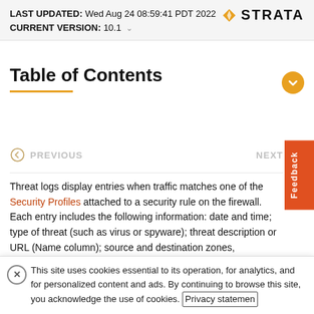LAST UPDATED: Wed Aug 24 08:59:41 PDT 2022
CURRENT VERSION: 10.1
[Figure (logo): Strata logo with orange diamond icon and bold text 'STRATA']
Table of Contents
PREVIOUS   NEXT
Threat logs display entries when traffic matches one of the Security Profiles attached to a security rule on the firewall. Each entry includes the following information: date and time; type of threat (such as virus or spyware); threat description or URL (Name column); source and destination zones,
This site uses cookies essential to its operation, for analytics, and for personalized content and ads. By continuing to browse this site, you acknowledge the use of cookies. Privacy statemen